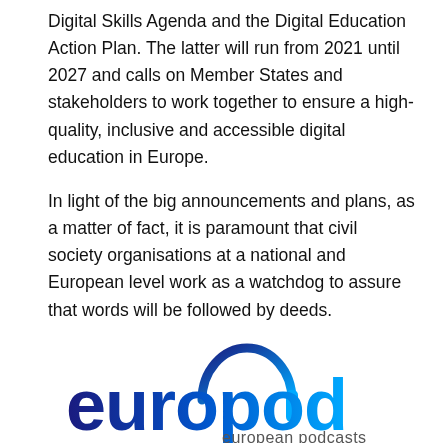Digital Skills Agenda and the Digital Education Action Plan. The latter will run from 2021 until 2027 and calls on Member States and stakeholders to work together to ensure a high-quality, inclusive and accessible digital education in Europe.
In light of the big announcements and plans, as a matter of fact, it is paramount that civil society organisations at a national and European level work as a watchdog to assure that words will be followed by deeds.
[Figure (logo): Europod logo: the word 'europod' in bold blue gradient lettering with a headphone arc above the letter 'o', and 'european podcasts' in smaller text to the right below.]